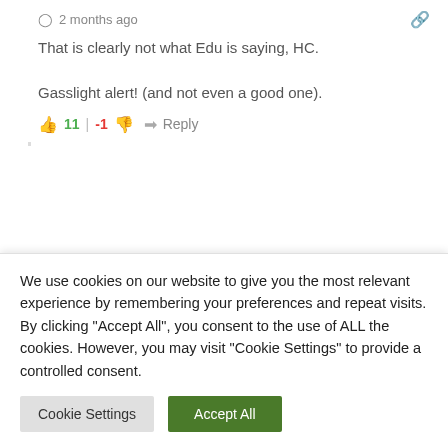2 months ago
That is clearly not what Edu is saying, HC.

Gasslight alert! (and not even a good one).
11 | -1  Reply
[Figure (screenshot): User avatar for Graham - green pixel art icon]
Graham  Reply to Heavenly Chapecoense  2 months ago
Correct. Investing in footballers is a high risk
We use cookies on our website to give you the most relevant experience by remembering your preferences and repeat visits. By clicking "Accept All", you consent to the use of ALL the cookies. However, you may visit "Cookie Settings" to provide a controlled consent.
Cookie Settings  Accept All